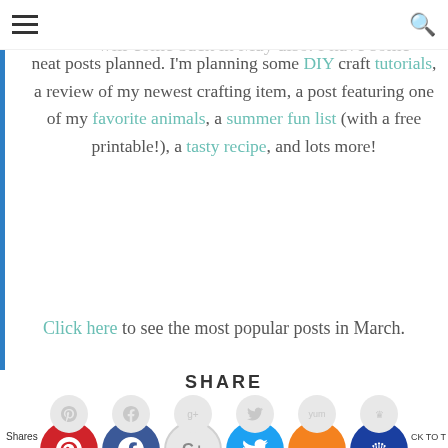Navigation bar with hamburger menu and search icon
Thanks for visiting my posts in April. I hope you will come back in May also. I have some neat posts planned. I'm planning some DIY craft tutorials, a review of my newest crafting item, a post featuring one of my favorite animals, a summer fun list (with a free printable!), a tasty recipe, and lots more!
Click here to see the most popular posts in March.
SHARE
[Figure (infographic): Social sharing buttons: Pinterest, Facebook, Google+, Twitter, Yummly, and a crown/bookmark icon. Each has a small top circle with a faint icon and a larger colored bottom circle with the main icon.]